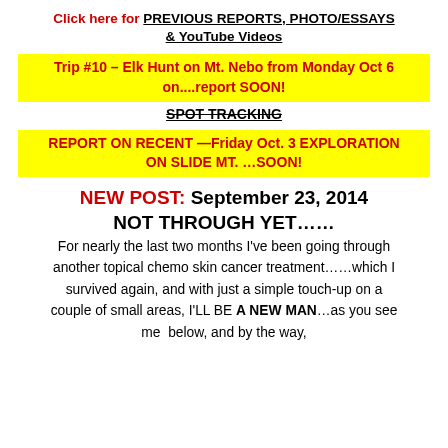Click here for PREVIOUS REPORTS, PHOTO/ESSAYS & YouTube Videos
Trip #10 – Elk Hunt on Mt. Nebo from Monday Oct 6 on....report SOON!
SPOT TRACKING
REPORT ON RECENT —Friday Oct. 3 EXPLORATION ON SLIDE MT. …SOON!
NEW POST: September 23, 2014 NOT THROUGH YET……
For nearly the last two months I've been going through another topical chemo skin cancer treatment……which I survived again, and with just a simple touch-up on a couple of small areas, I'LL BE A NEW MAN…as you see me below, and by the way,